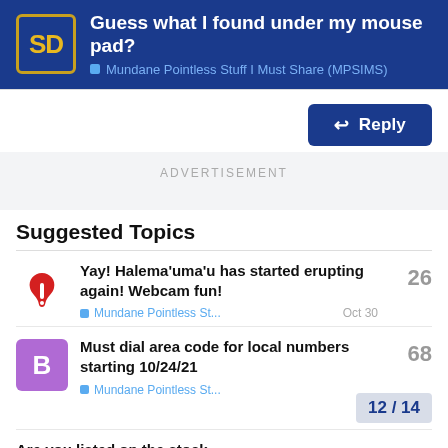Guess what I found under my mouse pad? — Mundane Pointless Stuff I Must Share (MPSIMS)
Reply
ADVERTISEMENT
Suggested Topics
Yay! Halema'uma'u has started erupting again! Webcam fun! — Mundane Pointless St... — Oct 30 — 26
Must dial area code for local numbers starting 10/24/21 — Mundane Pointless St... — 12 / 14 — 68
Are you listed on the stock...